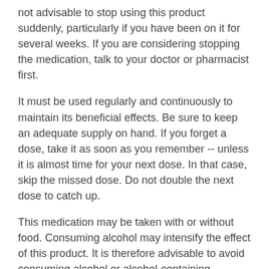not advisable to stop using this product suddenly, particularly if you have been on it for several weeks. If you are considering stopping the medication, talk to your doctor or pharmacist first.
It must be used regularly and continuously to maintain its beneficial effects. Be sure to keep an adequate supply on hand. If you forget a dose, take it as soon as you remember -- unless it is almost time for your next dose. In that case, skip the missed dose. Do not double the next dose to catch up.
This medication may be taken with or without food. Consuming alcohol may intensify the effect of this product. It is therefore advisable to avoid consuming alcohol or alcohol-containing products while taking this medication.
Possible side effects
In addition to its desired action, this medication may